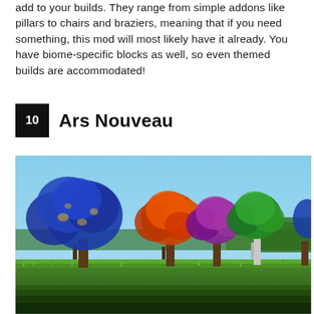add to your builds. They range from simple addons like pillars to chairs and braziers, meaning that if you need something, this mod will most likely have it already. You have biome-specific blocks as well, so even themed builds are accommodated!
10  Ars Nouveau
[Figure (photo): Minecraft screenshot showing four colorful magical trees in a row against a blue sky: a large blue tree on the left, an orange mushroom-shaped tree, a purple tree, and a green tree on the right, all standing on green grass terrain.]